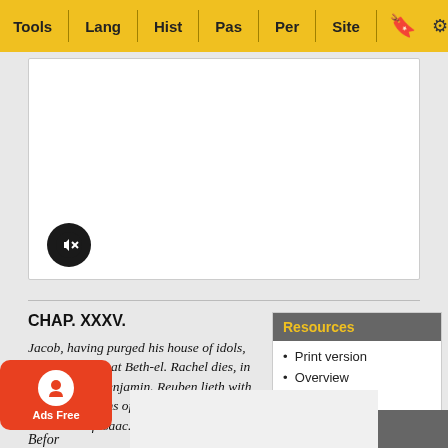Tools | Lang | Hist | Pas | Per | Site
[Figure (screenshot): Media player box with mute button]
CHAP. XXXV.
Jacob, having purged his house of idols, builds an altar at Beth-el. Rachel dies, in childbirth of Benjamin. Reuben lieth with Bilhah. The sons of Jacob are enumerated. The death of Isaac.
Resources
Print version
Overview
Copyright
Bibliography
Search for...
Befor